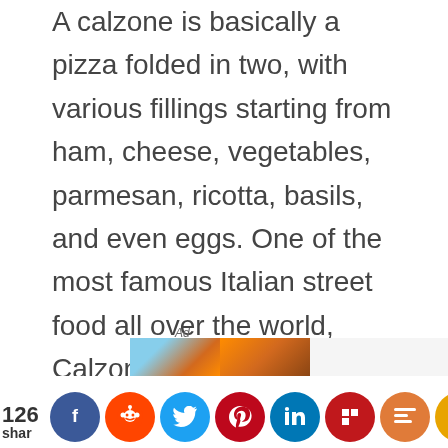A calzone is basically a pizza folded in two, with various fillings starting from ham, cheese, vegetables, parmesan, ricotta, basils, and even eggs. One of the most famous Italian street food all over the world, Calzone is originating from the region of Campania. The same region where the pizza is originating from! It's known to date back to the 18th century when in Naples a calzone was commonly known as a folded pizza.
A traditional calzone is oven-baked
[Figure (screenshot): Social sharing bar with Facebook, Reddit, Twitter, Pinterest, LinkedIn, Flipboard, Mix, and share buttons. Share count shows 126. Ad overlay visible.]